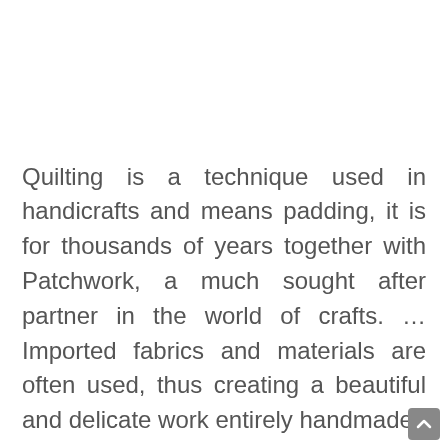Quilting is a technique used in handicrafts and means padding, it is for thousands of years together with Patchwork, a much sought after partner in the world of crafts. … Imported fabrics and materials are often used, thus creating a beautiful and delicate work entirely handmade. The...